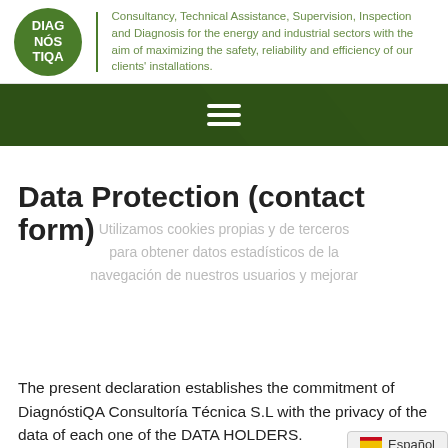[Figure (logo): DiagnóstiQA green circular logo with white text]
Consultancy, Technical Assistance, Supervision, Inspection and Diagnosis for the energy and industrial sectors with the aim of maximizing the safety, reliability and efficiency of our clients' installations.
[Figure (other): Dark green navigation bar with hamburger menu icon]
Data Protection (contact form)
Utilizamos cookies propias y de terceros para obtener datos estadísticos de la navegación de nuestros usuarios y mejorar
The present declaration establishes the commitment of DiagnóstiQA Consultoría Técnica S.L with the privacy of the data of each one of the DATA HOLDERS.